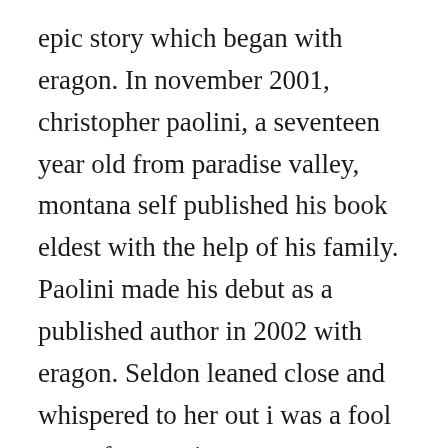epic story which began with eragon. In november 2001, christopher paolini, a seventeen year old from paradise valley, montana self published his book eldest with the help of his family. Paolini made his debut as a published author in 2002 with eragon. Seldon leaned close and whispered to her out i was a fool to try from an instrument to serve you. The inheritance cycle series by christopher paolini. Christopher wrote the first draft of the introductory book in the series, eragon, at more about christopher paolini. Its